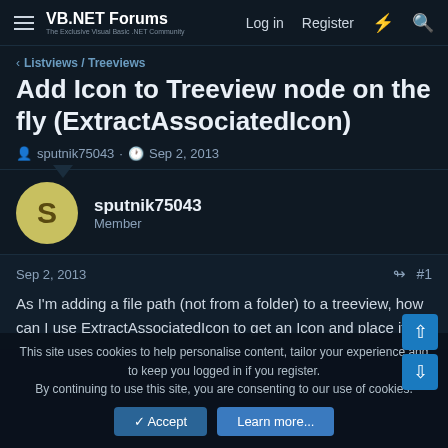VB.NET Forums | Log in | Register
Listviews / Treeviews
Add Icon to Treeview node on the fly (ExtractAssociatedIcon)
sputnik75043 · Sep 2, 2013
sputnik75043
Member
Sep 2, 2013  #1
As I'm adding a file path (not from a folder) to a treeview, how can I use ExtractAssociatedIcon to get an Icon and place it as
This site uses cookies to help personalise content, tailor your experience and to keep you logged in if you register.
By continuing to use this site, you are consenting to our use of cookies.
✓ Accept   Learn more...